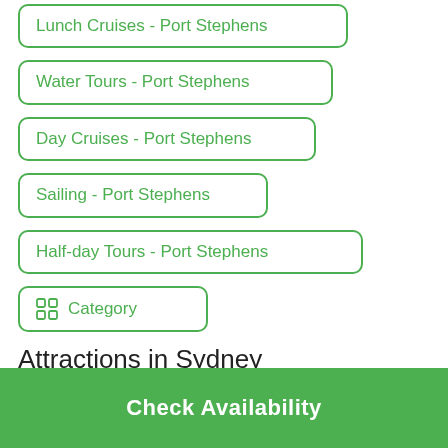Lunch Cruises - Port Stephens
Water Tours - Port Stephens
Day Cruises - Port Stephens
Sailing - Port Stephens
Half-day Tours - Port Stephens
Category
Attractions in Sydney
Check Availability